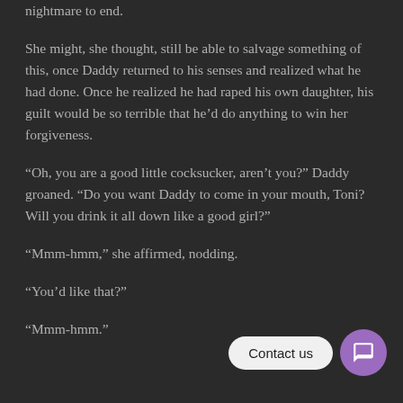nightmare to end.
She might, she thought, still be able to salvage something of this, once Daddy returned to his senses and realized what he had done. Once he realized he had raped his own daughter, his guilt would be so terrible that he’d do anything to win her forgiveness.
“Oh, you are a good little cocksucker, aren’t you?” Daddy groaned. “Do you want Daddy to come in your mouth, Toni? Will you drink it all down like a good girl?”
“Mmm-hmm,” she affirmed, nodding.
“You’d like that?”
“Mmm-hmm.”